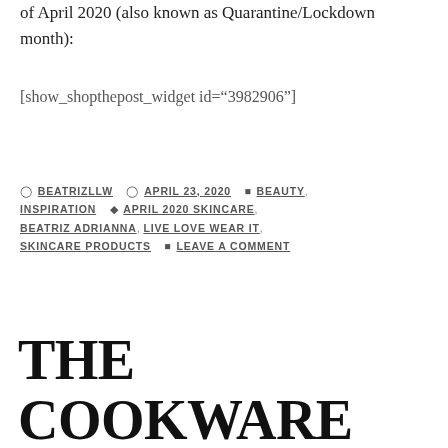of April 2020 (also known as Quarantine/Lockdown month):
[show_shopthepost_widget id="3982906"]
Posted by BEATRIZLLW  April 23, 2020  Categories: BEAUTY, INSPIRATION  Tags: APRIL 2020 SKINCARE, BEATRIZ ADRIANNA, LIVE LOVE WEAR IT, SKINCARE PRODUCTS  LEAVE A COMMENT
THE COOKWARE SET YOU NEED: NON-